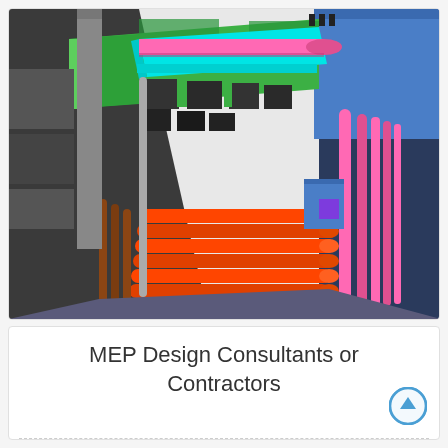[Figure (schematic): 3D BIM/CAD rendering of MEP (Mechanical, Electrical, Plumbing) systems showing colorful pipes, ducts, conduits and equipment in a building. Colors include green, cyan, pink/magenta, orange, red, blue, gray, and brown representing different building systems.]
MEP Design Consultants or Contractors